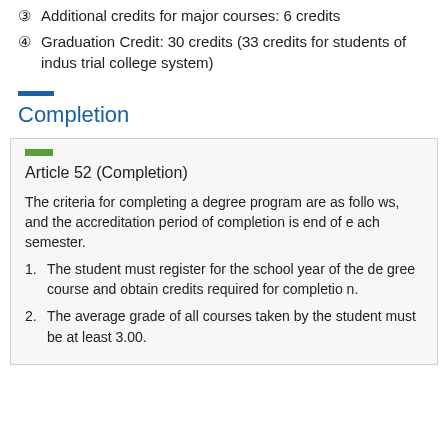③ Additional credits for major courses: 6 credits
④ Graduation Credit: 30 credits (33 credits for students of industrial college system)
Completion
Article 52 (Completion)
The criteria for completing a degree program are as follows, and the accreditation period of completion is end of each semester.
1. The student must register for the school year of the degree course and obtain credits required for completion.
2. The average grade of all courses taken by the student must be at least 3.00.